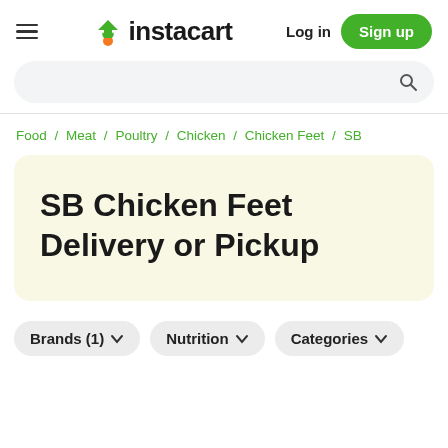instacart | Log in | Sign up
Food / Meat / Poultry / Chicken / Chicken Feet / SB
SB Chicken Feet Delivery or Pickup
Brands (1) ∨  Nutrition ∨  Categories ∨